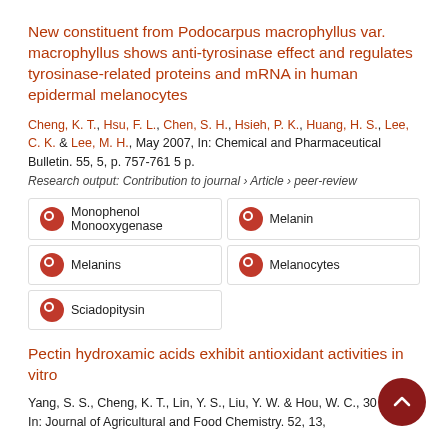New constituent from Podocarpus macrophyllus var. macrophyllus shows anti-tyrosinase effect and regulates tyrosinase-related proteins and mRNA in human epidermal melanocytes
Cheng, K. T., Hsu, F. L., Chen, S. H., Hsieh, P. K., Huang, H. S., Lee, C. K. & Lee, M. H., May 2007, In: Chemical and Pharmaceutical Bulletin. 55, 5, p. 757-761 5 p.
Research output: Contribution to journal › Article › peer-review
Monophenol Monooxygenase
Melanin
Melanins
Melanocytes
Sciadopitysin
Pectin hydroxamic acids exhibit antioxidant activities in vitro
Yang, S. S., Cheng, K. T., Lin, Y. S., Liu, Y. W. & Hou, W. C., 30 2004, In: Journal of Agricultural and Food Chemistry. 52, 13,